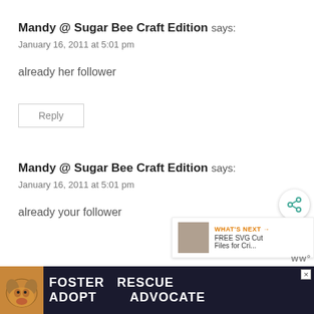Mandy @ Sugar Bee Craft Edition says:
January 16, 2011 at 5:01 pm
already her follower
Reply
Mandy @ Sugar Bee Craft Edition says:
January 16, 2011 at 5:01 pm
already your follower
[Figure (infographic): Advertisement banner: Foster Adopt Advocate with dog image]
[Figure (other): Share button icon overlay (circular)]
[Figure (other): What's Next panel: FREE SVG Cut Files for Cri...]